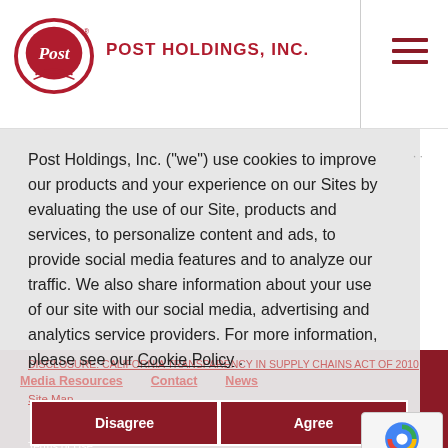POST HOLDINGS, INC.
Post Holdings, Inc. (“we”) use cookies to improve our products and your experience on our Sites by evaluating the use of our Site, products and services, to personalize content and ads, to provide social media features and to analyze our traffic. We also share information about your use of our site with our social media, advertising and analytics service providers. For more information, please see our Cookie Policy.
Media Resources   Contact   News
DISCLOSURE: CALIFORNIA TRANSPARENCY IN SUPPLY CHAINS ACT OF 2010
Disagree
Agree
Site Map
Terms of Use